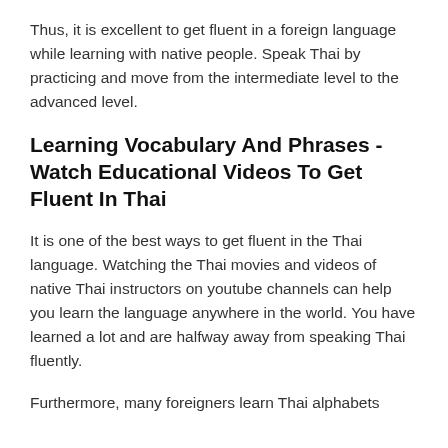Thus, it is excellent to get fluent in a foreign language while learning with native people. Speak Thai by practicing and move from the intermediate level to the advanced level.
Learning Vocabulary And Phrases - Watch Educational Videos To Get Fluent In Thai
It is one of the best ways to get fluent in the Thai language. Watching the Thai movies and videos of native Thai instructors on youtube channels can help you learn the language anywhere in the world. You have learned a lot and are halfway away from speaking Thai fluently.
Furthermore, many foreigners learn Thai alphabets